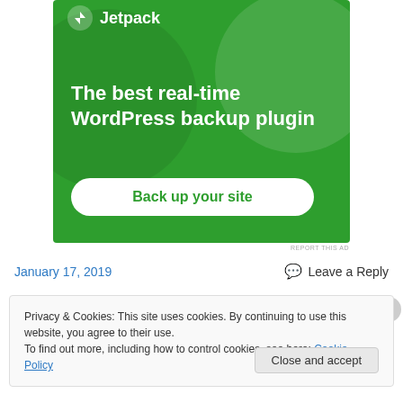[Figure (screenshot): Jetpack WordPress plugin advertisement banner. Green background with Jetpack logo, headline 'The best real-time WordPress backup plugin' and a 'Back up your site' button.]
REPORT THIS AD
January 17, 2019
Leave a Reply
Privacy & Cookies: This site uses cookies. By continuing to use this website, you agree to their use.
To find out more, including how to control cookies, see here: Cookie Policy
Close and accept